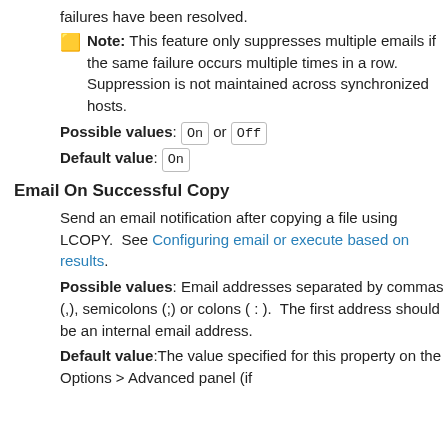failures have been resolved.
🟨 Note: This feature only suppresses multiple emails if the same failure occurs multiple times in a row. Suppression is not maintained across synchronized hosts.
Possible values: On or Off
Default value: On
Email On Successful Copy
Send an email notification after copying a file using LCOPY.  See Configuring email or execute based on results.
Possible values: Email addresses separated by commas (,), semicolons (;) or colons ( : ).  The first address should be an internal email address.
Default value:The value specified for this property on the Options > Advanced panel (if